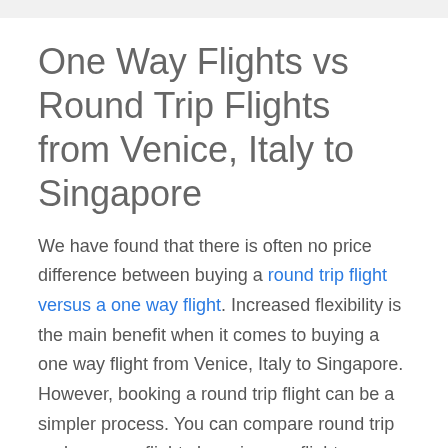One Way Flights vs Round Trip Flights from Venice, Italy to Singapore
We have found that there is often no price difference between buying a round trip flight versus a one way flight. Increased flexibility is the main benefit when it comes to buying a one way flight from Venice, Italy to Singapore. However, booking a round trip flight can be a simpler process. You can compare round trip and one way flights by using our flight comparison.